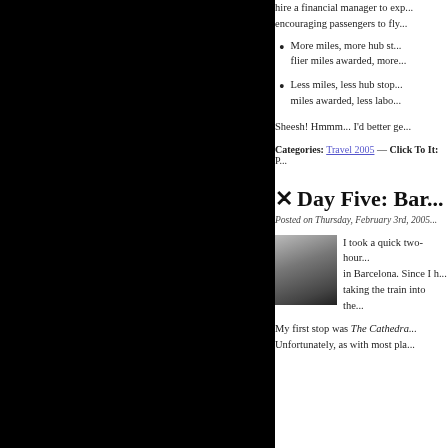hire a financial manager to exp... encouraging passengers to fly...
More miles, more hub st... flier miles awarded, more...
Less miles, less hub stop... miles awarded, less labo...
Sheesh! Hmmm... I'd better ge...
Categories: Travel 2005 — Click To It: P...
✕ Day Five: Bar...
Posted on Thursday, February 3rd, 2005...
[Figure (photo): Black and white photo of a man's face, close-up headshot]
I took a quick two-hour... in Barcelona. Since I h... taking the train into the...
My first stop was The Cathedral... Unfortunately, as with most pla...